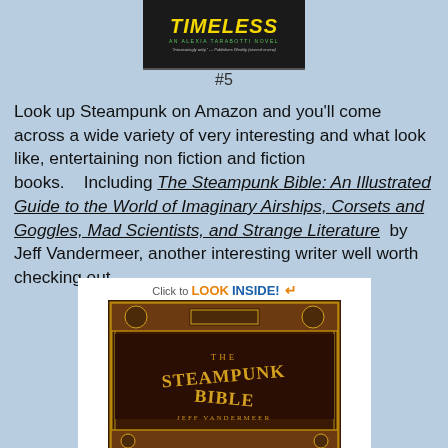[Figure (photo): Book cover of 'Timeless: An Alexia Tarabotti Novel' with yellow title text on dark background. Quote: 'Intoxicatingly witty.' - Publishers Weekly (starred review)]
#5
Look up Steampunk on Amazon and you'll come across a wide variety of very interesting and what look like, entertaining non fiction and fiction books.    Including The Steampunk Bible: An Illustrated Guide to the World of Imaginary Airships, Corsets and Goggles, Mad Scientists, and Strange Literature  by Jeff Vandermeer, another interesting writer well worth checking out.
[Figure (photo): Book cover of 'The Steampunk Bible' by Jeff Vandermeer with ornate vintage-style cover art, shown with 'Click to LOOK INSIDE!' Amazon overlay banner.]